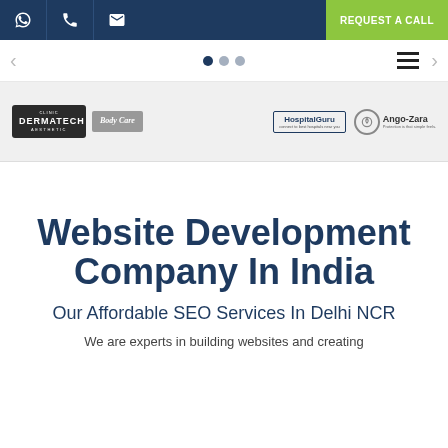WhatsApp | Phone | Email | REQUEST A CALL
[Figure (screenshot): Navigation bar with left/right arrows, dots pagination, and hamburger menu icon]
[Figure (logo): Client logos carousel: Clinic Dermatech, Body Care, HospitalGuru, Ango-Zara]
Website Development Company In India
Our Affordable SEO Services In Delhi NCR
We are experts in building websites and creating